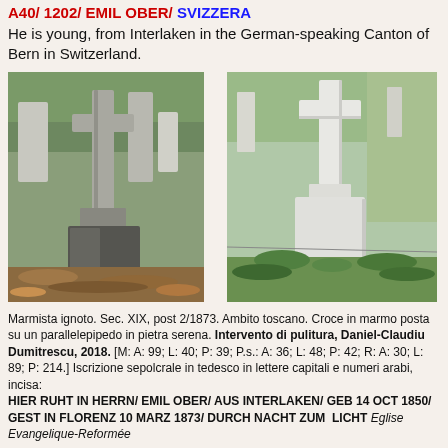A40/ 1202/ EMIL OBER/ SVIZZERA
He is young, from Interlaken in the German-speaking Canton of Bern in Switzerland.
[Figure (photo): Gravestone with a dark cross on a pedestal, surrounded by cemetery headstones and fallen leaves.]
[Figure (photo): White marble cross on a square pedestal in a cemetery with green plants around it.]
Marmista ignoto. Sec. XIX, post 2/1873. Ambito toscano. Croce in marmo posta su un parallelepipedo in pietra serena. Intervento di pulitura, Daniel-Claudiu Dumitrescu, 2018. [M: A: 99; L: 40; P: 39; P.s.: A: 36; L: 48; P: 42; R: A: 30; L: 89; P: 214.] Iscrizione sepolcrale in tedesco in lettere capitali e numeri arabi, incisa: HIER RUHT IN HERRN/ EMIL OBER/ AUS INTERLAKEN/ GEB 14 OCT 1850/ GEST IN FLORENZ 10 MARZ 1873/ DURCH NACHT ZUM LICHT Eglise Evangelique-Reformée